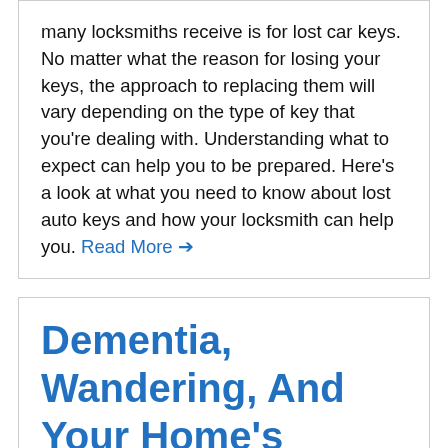many locksmiths receive is for lost car keys. No matter what the reason for losing your keys, the approach to replacing them will vary depending on the type of key that you're dealing with. Understanding what to expect can help you to be prepared. Here's a look at what you need to know about lost auto keys and how your locksmith can help you. Read More →
Dementia, Wandering, And Your Home's Security
16 February 2021
Categories: , Blog